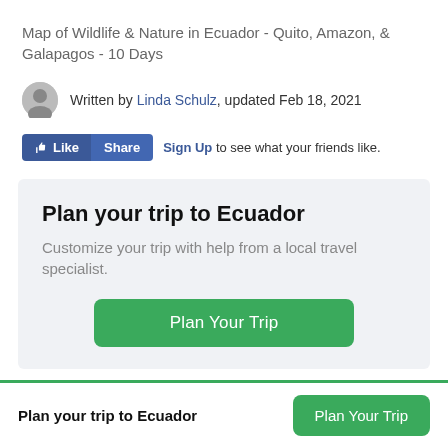Map of Wildlife & Nature in Ecuador - Quito, Amazon, & Galapagos - 10 Days
Written by Linda Schulz, updated Feb 18, 2021
Like Share Sign Up to see what your friends like.
Plan your trip to Ecuador
Customize your trip with help from a local travel specialist.
Plan Your Trip
Plan your trip to Ecuador
Plan Your Trip